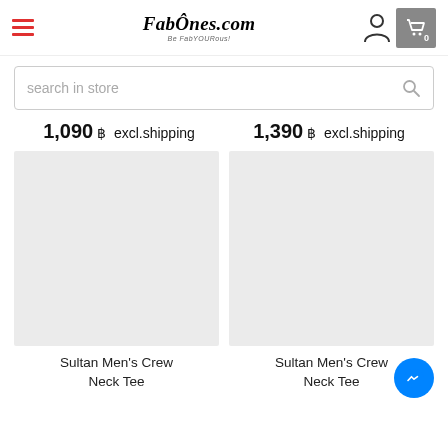FabOnes.com — Be FabYOURous!
search in store
1,090 ฿ excl.shipping
1,390 ฿ excl.shipping
[Figure (photo): Product image placeholder for Sultan Men's Crew Neck Tee (left)]
[Figure (photo): Product image placeholder for Sultan Men's Crew Neck Tee (right)]
Sultan Men's Crew Neck Tee
Sultan Men's Crew Neck Tee